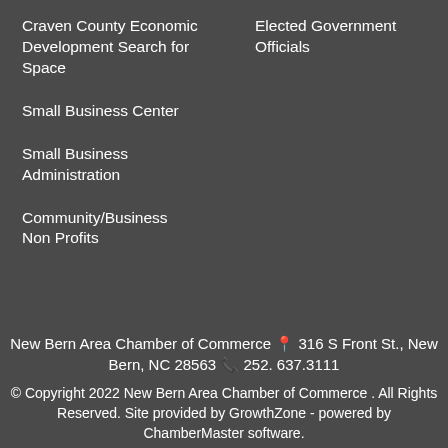Craven County Economic Development Search for Space
Elected Government Officials
Small Business Center
Small Business Administration
Community/Business Non Profits
New Bern Area Chamber of Commerce 📍 316 S Front St., New Bern, NC 28563 📞 252. 637.3111
© Copyright 2022 New Bern Area Chamber of Commerce . All Rights Reserved. Site provided by GrowthZone - powered by ChamberMaster software.